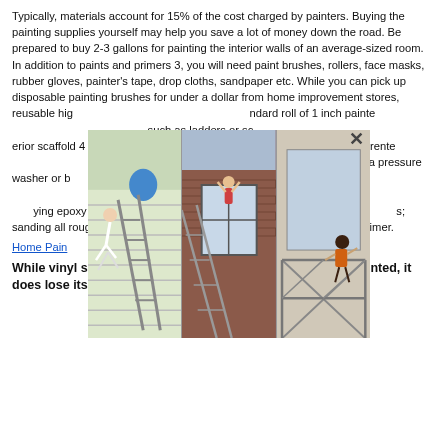Typically, materials account for 15% of the cost charged by painters. Buying the painting supplies yourself may help you save a lot of money down the road. Be prepared to buy 2-3 gallons for painting the interior walls of an average-sized room. In addition to paints and primers 3, you will need paint brushes, rollers, face masks, rubber gloves, painter's tape, drop cloths, sandpaper etc. While you can pick up disposable painting brushes for under a dollar from home improvement stores, reusable high quality ones cost around $8. A standard roll of 1 inch painter's tape costs about $3. Equipment such as ladders or scaffolding is useful for exterior and interior scaffold 4 which can cost around $700. In small increments can be rented for around $50 per day. Prep work should include cleaning the surface with a pressure washer or by scrubbing it with a mixture of bleach and water or a commercial cleaner to remove dirt and stains; caulking all seams, corners and around windows and trim; applying epoxy filler to repair serious woodwork problems; covering dark stains; sanding all rough surfaces, and priming the bare wood with a bonding primer.
Home Painters Broomfield CO
[Figure (photo): Three photos shown as an overlay/lightbox: left photo shows a person falling off a ladder against a white-sided house with a blue bucket, center photo shows a person hanging from a window of a red brick house with a ladder, right photo shows a person on scaffolding inside a building.]
While vinyl siding salespeople claim it never needs to be painted, it does lose its color strength over time, and the